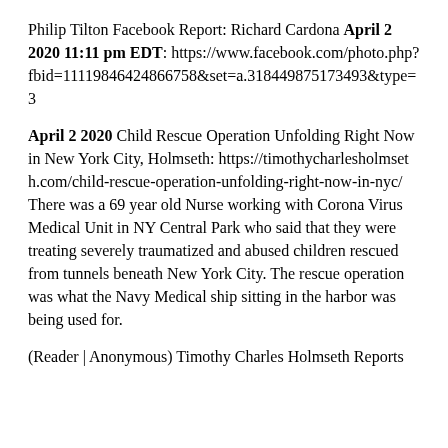Philip Tilton Facebook Report: Richard Cardona April 2 2020 11:11 pm EDT: https://www.facebook.com/photo.php?fbid=11119846424866758&set=a.318449875173493&type=3
April 2 2020 Child Rescue Operation Unfolding Right Now in New York City, Holmseth: https://timothycharlesholmseth.com/child-rescue-operation-unfolding-right-now-in-nyc/ There was a 69 year old Nurse working with Corona Virus Medical Unit in NY Central Park who said that they were treating severely traumatized and abused children rescued from tunnels beneath New York City. The rescue operation was what the Navy Medical ship sitting in the harbor was being used for.
(Reader | Anonymous) Timothy Charles Holmseth Reports for the...